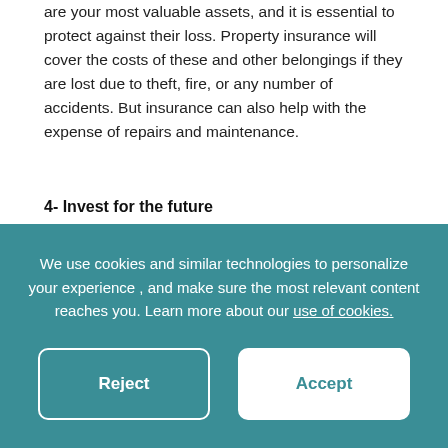are your most valuable assets, and it is essential to protect against their loss. Property insurance will cover the costs of these and other belongings if they are lost due to theft, fire, or any number of accidents. But insurance can also help with the expense of repairs and maintenance.
4- Invest for the future
If you are planner, you are already thinking of your future needs. You want to guarantee a reliable income after a long successful
We use cookies and similar technologies to personalize your experience , and make sure the most relevant content reaches you. Learn more about our use of cookies.